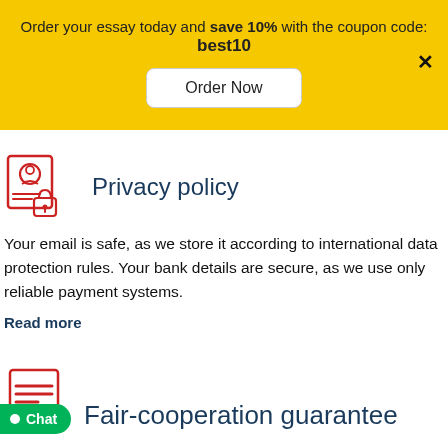Order your essay today and save 10% with the coupon code: best10
Order Now
[Figure (illustration): Privacy policy icon: person with document and padlock, red outline style]
Privacy policy
Your email is safe, as we store it according to international data protection rules. Your bank details are secure, as we use only reliable payment systems.
Read more
[Figure (illustration): Fair-cooperation guarantee icon: document with red lines]
Fair-cooperation guarantee
Chat